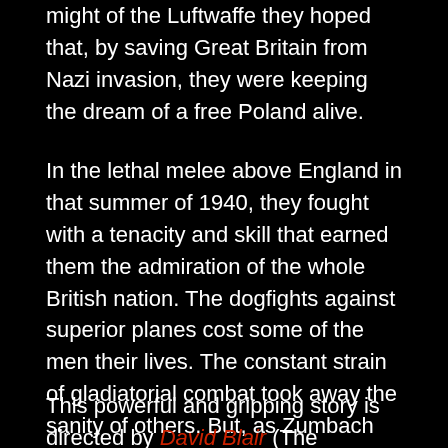component in the legend of the Few. Up against the might of the Luftwaffe they hoped that, by saving Great Britain from Nazi invasion, they were keeping the dream of a free Poland alive.
In the lethal melee above England in that summer of 1940, they fought with a tenacity and skill that earned them the admiration of the whole British nation. The dogfights against superior planes cost some of the men their lives. The constant strain of gladiatorial combat took away the sanity of others. But, as Zumbach discovers as the war stutters to a close, becoming the best in the RAF is a hollow victory for the Poles.
This powerful and gripping story is directed by David Blair (The Messenger, Away, Accused) and stars Iwan